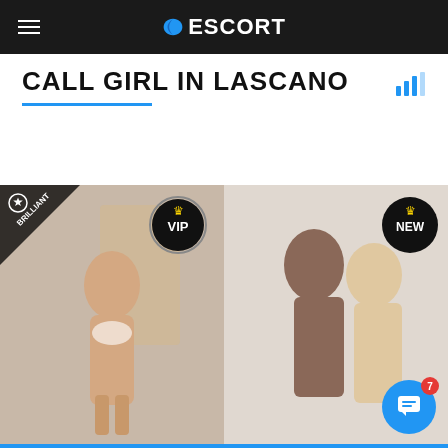ESCORT
CALL GIRL IN LASCANO
[Figure (photo): Two escort profile photos side by side. Left: woman in white lingerie posing, with BRILLIANT badge and VIP badge. Right: two women (brunette and blonde) together, with NEW badge.]